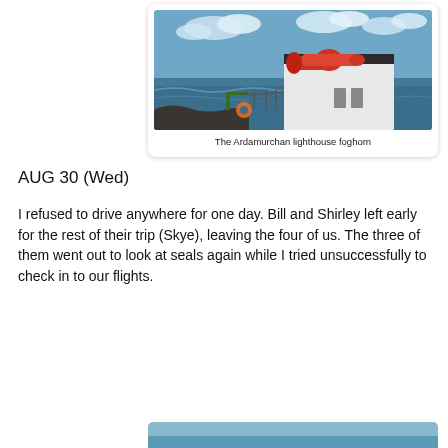[Figure (photo): Photograph of the Ardamurchan lighthouse foghorn — a large red cylindrical foghorn mounted on a white building beside the sea, with blue sky and ocean in the background.]
The Ardamurchan lighthouse foghorn
AUG 30 (Wed)
I refused to drive anywhere for one day. Bill and Shirley left early for the rest of their trip (Skye), leaving the four of us. The three of them went out to look at seals again while I tried unsuccessfully to check in to our flights.
[Figure (photo): Partial view of another photograph at the bottom of the page, showing a blue/teal scene (likely water or landscape).]